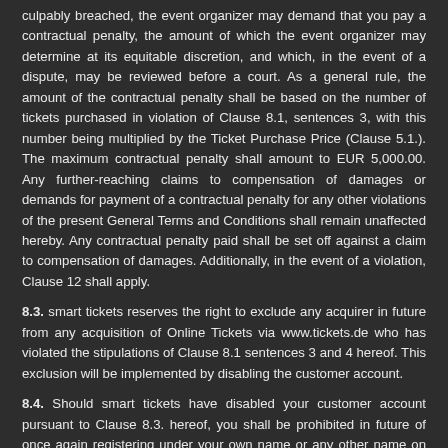culpably breached, the event organizer may demand that you pay a contractual penalty, the amount of which the event organizer may determine at its equitable discretion, and which, in the event of a dispute, may be reviewed before a court. As a general rule, the amount of the contractual penalty shall be based on the number of tickets purchased in violation of Clause 8.1, sentences 3, with this number being multiplied by the Ticket Purchase Price (Clause 5.1.). The maximum contractual penalty shall amount to EUR 5,000.00. Any further-reaching claims to compensation of damages or demands for payment of a contractual penalty for any other violations of the present General Terms and Conditions shall remain unaffected hereby. Any contractual penalty paid shall be set off against a claim to compensation of damages. Additionally, in the event of a violation, Clause 12 shall apply.
8.3. smart tickets reserves the right to exclude any acquirer in future from any acquisition of Online Tickets via www.tickets.de who has violated the stipulations of Clause 8.1 sentences 3 and 4 hereof. This exclusion will be implemented by disabling the customer account.
8.4. Should smart tickets have disabled your customer account pursuant to Clause 8.3. hereof, you shall be prohibited in future of once again registering under your own name or any other name on www.tickets.de. In the event of this prohibition being culpably breached, smart tickets may demand that you pay a contractual penalty, the amount of which smart tickets may determine at its equitable discretion, and which, in the event of a dispute, may be reviewed before a court. The maximum contractual penalty shall amount to EUR 1,000.00. Any further-reaching claims to compensation of damages shall